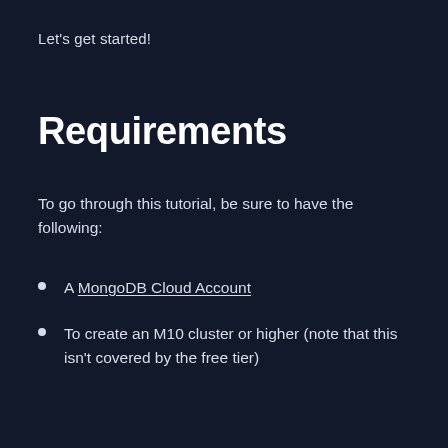Let's get started!
Requirements
To go through this tutorial, be sure to have the following:
A MongoDB Cloud Account
To create an M10 cluster or higher (note that this isn't covered by the free tier)